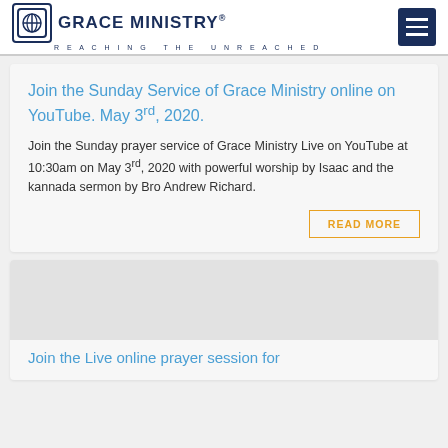GRACE MINISTRY® REACHING THE UNREACHED
Join the Sunday Service of Grace Ministry online on YouTube. May 3rd, 2020.
Join the Sunday prayer service of Grace Ministry Live on YouTube at 10:30am on May 3rd, 2020 with powerful worship by Isaac and the kannada sermon by Bro Andrew Richard.
READ MORE
Join the Live online prayer session for